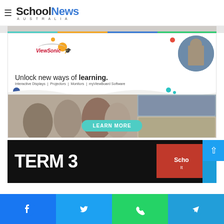SchoolNews Australia
[Figure (photo): Top banner strip with colorful sections]
[Figure (photo): ViewSonic advertisement: Unlock new ways of learning. Interactive Displays | Projectors | Monitors | myViewBoard Software. Features children smiling and a LEARN MORE button.]
[Figure (photo): Term 3 dark banner advertisement beginning to appear at bottom of visible content]
Social share bar with Facebook, Twitter, WhatsApp, Telegram buttons